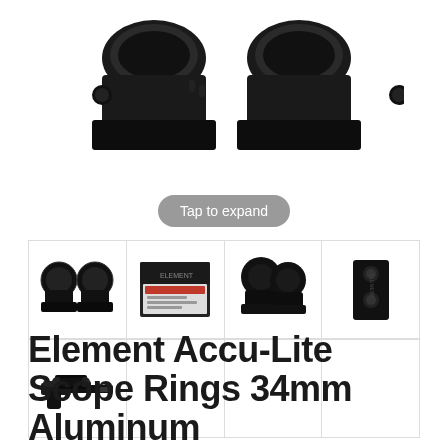[Figure (photo): Two black aluminum scope ring mounts shown side by side on white background, main product image]
Tap to expand
[Figure (photo): Grid of 5 product thumbnail images: two scope rings side by side, product box/packaging, two rings angled view, black rectangular mount block side view, rifle with mounted scope]
Element Accu-Lite Scope Rings 34mm Aluminum